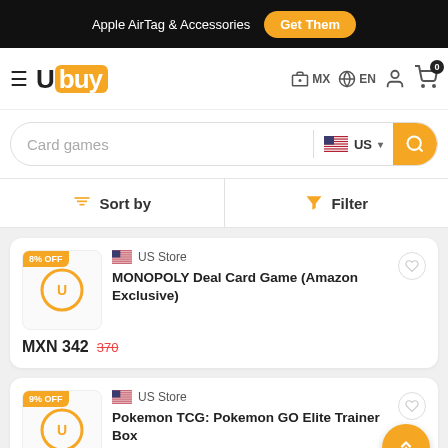Apple AirTag & Accessories  Get Them
[Figure (logo): Ubuy logo with orange background on 'buy' portion, hamburger menu icon on the left. Navigation shows MX, EN, user icon, cart with 0 badge.]
Card games  US (search bar with US flag and search button)
Sort by  |  Filter
8% OFF  US Store  MONOPOLY Deal Card Game (Amazon Exclusive)  MXN 342  370
9% OFF  US Store  Pokemon TCG: Pokemon GO Elite Trainer Box